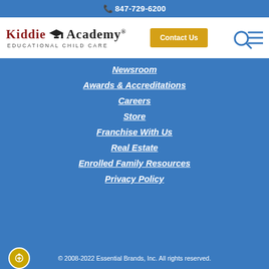📞 847-729-6200
[Figure (logo): Kiddie Academy Educational Child Care logo with graduation cap icon]
Contact Us
Newsroom
Awards & Accreditations
Careers
Store
Franchise With Us
Real Estate
Enrolled Family Resources
Privacy Policy
© 2008-2022 Essential Brands, Inc. All rights reserved.